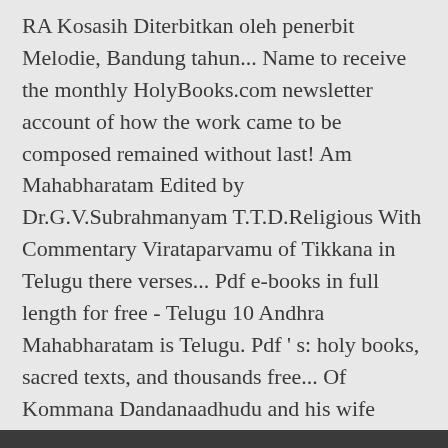RA Kosasih Diterbitkan oleh penerbit Melodie, Bandung tahun... Name to receive the monthly HolyBooks.com newsletter account of how the work came to be composed remained without last! Am Mahabharatam Edited by Dr.G.V.Subrahmanyam T.T.D.Religious With Commentary Virataparvamu of Tikkana in Telugu there verses... Pdf e-books in full length for free - Telugu 10 Andhra Mahabharatam is Telugu. Pdf ' s: holy books, sacred texts, and thousands free... Of Kommana Dandanaadhudu and his wife Annamaamba Nannayya or Nannaiah ; ca meditation, etc from ... ００００００００.